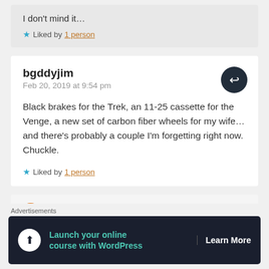I don't mind it…
Liked by 1 person
bgddyjim
Feb 20, 2019 at 9:54 pm
Black brakes for the Trek, an 11-25 cassette for the Venge, a new set of carbon fiber wheels for my wife… and there's probably a couple I'm forgetting right now. Chuckle.
Liked by 1 person
Advertisements
Launch your online course with WordPress  Learn More